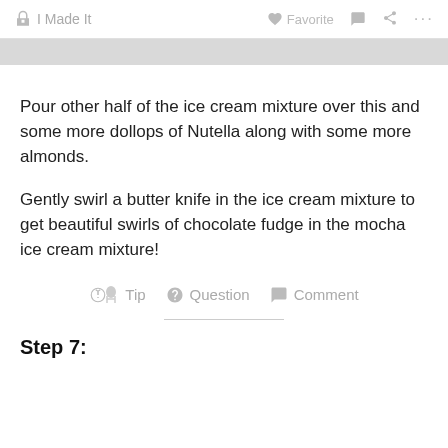I Made It   Favorite   Comment   Share   ...
Pour other half of the ice cream mixture over this and some more dollops of Nutella along with some more almonds.
Gently swirl a butter knife in the ice cream mixture to get beautiful swirls of chocolate fudge in the mocha ice cream mixture!
Tip   Question   Comment
Step 7: